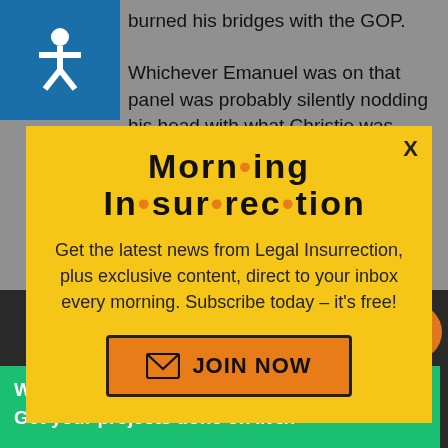burned his bridges with the GOP.

Whichever Emanuel was on that panel was probably silently nodding his head with what Christie was saying.
[Figure (infographic): Yellow modal popup for Morning Insurrection newsletter subscription with orange JOIN NOW button]
[Figure (infographic): Green Fiverr advertisement banner: Working from home? Get your projects done on fiverr]